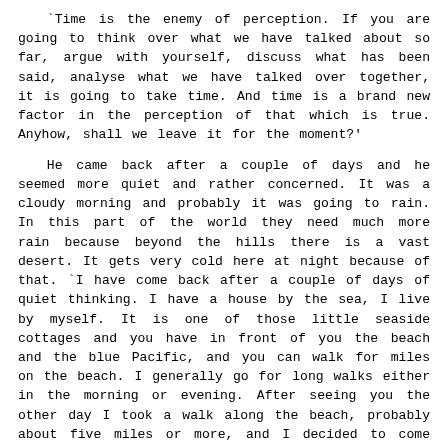`Time is the enemy of perception. If you are going to think over what we have talked about so far, argue with yourself, discuss what has been said, analyse what we have talked over together, it is going to take time. And time is a brand new factor in the perception of that which is true. Anyhow, shall we leave it for the moment?'
He came back after a couple of days and he seemed more quiet and rather concerned. It was a cloudy morning and probably it was going to rain. In this part of the world they need much more rain because beyond the hills there is a vast desert. It gets very cold here at night because of that. `I have come back after a couple of days of quiet thinking. I have a house by the sea, I live by myself. It is one of those little seaside cottages and you have in front of you the beach and the blue Pacific, and you can walk for miles on the beach. I generally go for long walks either in the morning or evening. After seeing you the other day I took a walk along the beach, probably about five miles or more, and I decided to come back and see you again. I was at first very disturbed. I couldn't quite make out what you were saying, what you were pointing out to me. Though I am rather a sceptical person about these matters, I allowed what you were saying to occupy my mind. It wasn't that I was inwardly accepting or denying it, but it intrigued me, and I purposely use the word "allow" - to allow it to enter into my mind. And after some deliberation I took a car and drove along by the coast and then turned inland and came here. It is a beautiful valley. I am glad to find you here. So could we continue